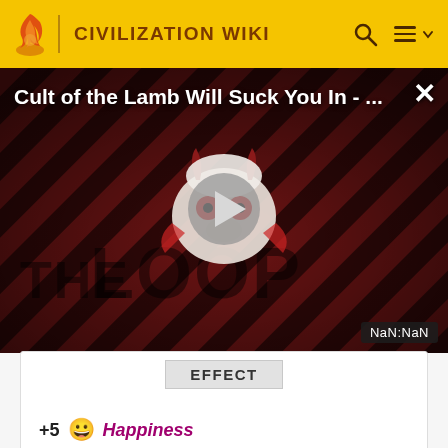CIVILIZATION WIKI
[Figure (screenshot): Video thumbnail for 'Cult of the Lamb Will Suck You In - ...' with a demonic lamb character, play button overlay, diagonal striped dark red background, THE LOOP watermark, and NaN:NaN timestamp badge.]
EFFECT
+5 Happiness